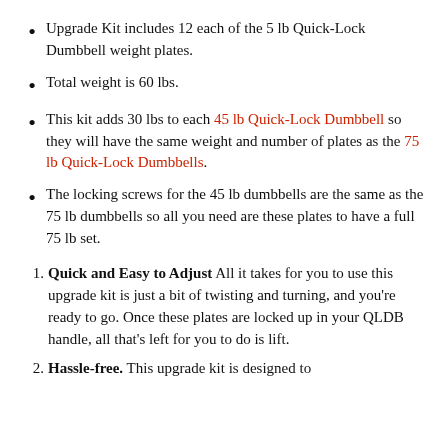Upgrade Kit includes 12 each of the 5 lb Quick-Lock Dumbbell weight plates.
Total weight is 60 lbs.
This kit adds 30 lbs to each 45 lb Quick-Lock Dumbbell so they will have the same weight and number of plates as the 75 lb Quick-Lock Dumbbells.
The locking screws for the 45 lb dumbbells are the same as the 75 lb dumbbells so all you need are these plates to have a full 75 lb set.
1. Quick and Easy to Adjust All it takes for you to use this upgrade kit is just a bit of twisting and turning, and you're ready to go. Once these plates are locked up in your QLDB handle, all that's left for you to do is lift.
2. Hassle-free. This upgrade kit is designed to